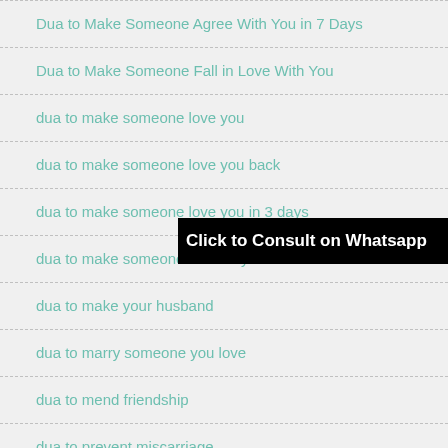Dua to Make Someone Agree With You in 7 Days
Dua to Make Someone Fall in Love With You
dua to make someone love you
dua to make someone love you back
dua to make someone love you in 3 days
dua to make someone think of you
dua to make your husband
dua to marry someone you love
dua to mend friendship
dua to prevent miscarriage